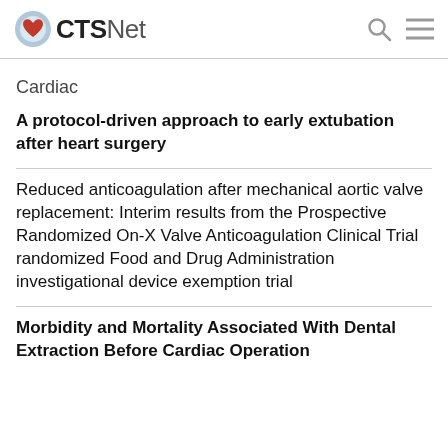CTSNet
Cardiac
A protocol-driven approach to early extubation after heart surgery
Reduced anticoagulation after mechanical aortic valve replacement: Interim results from the Prospective Randomized On-X Valve Anticoagulation Clinical Trial randomized Food and Drug Administration investigational device exemption trial
Morbidity and Mortality Associated With Dental Extraction Before Cardiac Operation